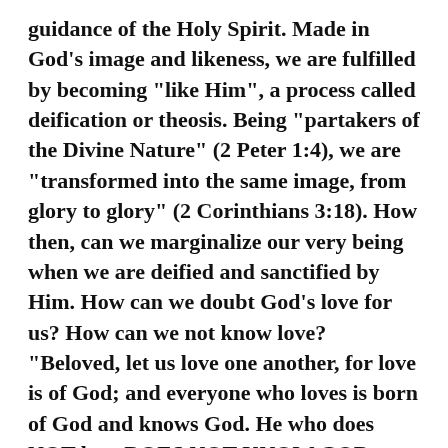guidance of the Holy Spirit. Made in God's image and likeness, we are fulfilled by becoming "like Him", a process called deification or theosis. Being "partakers of the Divine Nature" (2 Peter 1:4), we are "transformed into the same image, from glory to glory" (2 Corinthians 3:18). How then, can we marginalize our very being when we are deified and sanctified by Him. How can we doubt God's love for us? How can we not know love? "Beloved, let us love one another, for love is of God; and everyone who loves is born of God and knows God. He who does NOT love DOES NOT KNOW GOD, FOR GOD IS LOVE" (1 John 4:7-8).
There is absolutely no room in life to